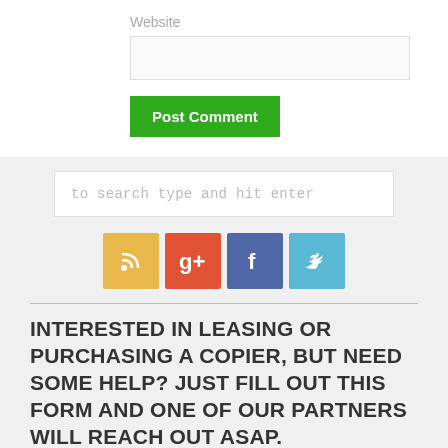Website
Post Comment
to search type and hit enter
[Figure (other): Social media icon buttons: RSS (yellow), Google+ (red), Facebook (blue), Twitter (light blue)]
INTERESTED IN LEASING OR PURCHASING A COPIER, BUT NEED SOME HELP? JUST FILL OUT THIS FORM AND ONE OF OUR PARTNERS WILL REACH OUT ASAP.
Find a Copier Dealer Near Me
First Name*